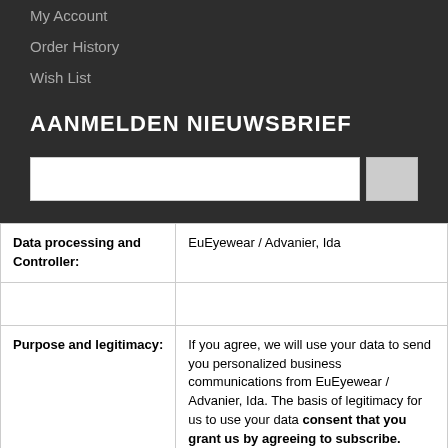My Account
Order History
Wish List
AANMELDEN NIEUWSBRIEF
| Data processing and Controller: |  |
| --- | --- |
| Data processing and Controller: | EuEyewear / Advanier, Ida |
|  |  |
| Purpose and legitimacy: | If you agree, we will use your data to send you personalized business communications from EuEyewear / Advanier, Ida. The basis of legitimacy for us to use your data consent that you grant us by agreeing to subscribe. |
|  |  |